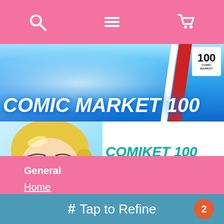[navigation bar with search, menu, and cart icons]
[Figure (illustration): Comic Market 100 banner with anime character and blue glowing background, red/white diagonal stripes, and official logo]
[Figure (illustration): Comiket 100 All ages RANKING banner with anime character (blonde girl) on the left and teal/black text on white background]
General
Home
Blog
# Tap to Refine  2